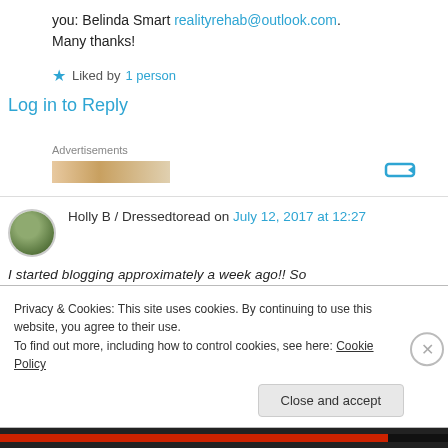you: Belinda Smart realityrehab@outlook.com. Many thanks!
Liked by 1 person
Log in to Reply
Advertisements
Holly B / Dressedtoread on July 12, 2017 at 12:27
I started blogging approximately a week ago!! So
Privacy & Cookies: This site uses cookies. By continuing to use this website, you agree to their use.
To find out more, including how to control cookies, see here: Cookie Policy